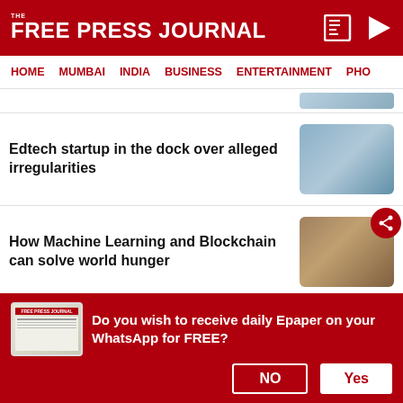FREE PRESS JOURNAL
HOME  MUMBAI  INDIA  BUSINESS  ENTERTAINMENT  PHO
Edtech startup in the dock over alleged irregularities
How Machine Learning and Blockchain can solve world hunger
Why you should pursue Liberal Arts in the US
Masters vs MBA – Which is the right one
Do you wish to receive daily Epaper on your WhatsApp for FREE?